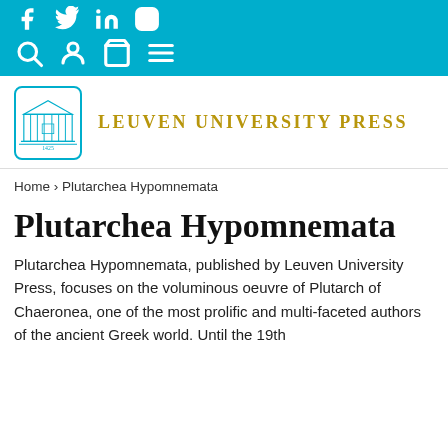[Figure (screenshot): Cyan navigation bar with social media icons (Facebook, Twitter, LinkedIn, Instagram) and site navigation icons (search, user, cart, menu)]
[Figure (logo): Leuven University Press logo: building illustration in cyan with the year 1425, inside a rounded rectangle border, next to the text LEUVEN UNIVERSITY PRESS in gold]
Home › Plutarchea Hypomnemata
Plutarchea Hypomnemata
Plutarchea Hypomnemata, published by Leuven University Press, focuses on the voluminous oeuvre of Plutarch of Chaeronea, one of the most prolific and multi-faceted authors of the ancient Greek world. Until the 19th